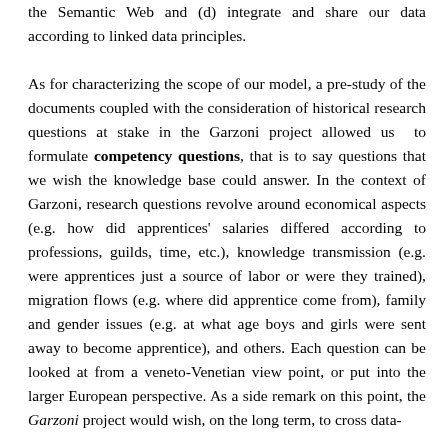the Semantic Web and (d) integrate and share our data according to linked data principles.
As for characterizing the scope of our model, a pre-study of the documents coupled with the consideration of historical research questions at stake in the Garzoni project allowed us to formulate competency questions, that is to say questions that we wish the knowledge base could answer. In the context of Garzoni, research questions revolve around economical aspects (e.g. how did apprentices' salaries differed according to professions, guilds, time, etc.), knowledge transmission (e.g. were apprentices just a source of labor or were they trained), migration flows (e.g. where did apprentice come from), family and gender issues (e.g. at what age boys and girls were sent away to become apprentice), and others. Each question can be looked at from a veneto-Venetian view point, or put into the larger European perspective. As a side remark on this point, the Garzoni project would wish, on the long term, to cross data-